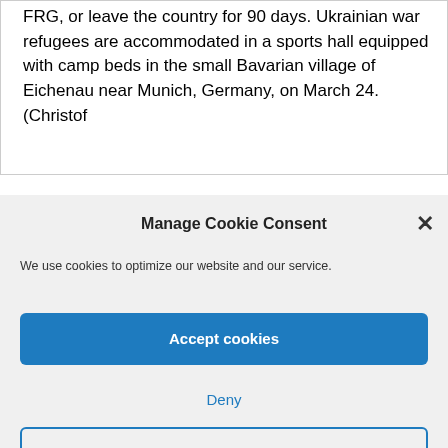FRG, or leave the country for 90 days. Ukrainian war refugees are accommodated in a sports hall equipped with camp beds in the small Bavarian village of Eichenau near Munich, Germany, on March 24. (Christof
Manage Cookie Consent
We use cookies to optimize our website and our service.
Accept cookies
Deny
View preferences
Copyright 2022 | All Rights Reserved | HUMANRIGHTS ONLINE.ORG.| IGFM.DE | ISHR.ORG.|
Impressum | Datenschutz | Design Autoactiva – Die Autohaus